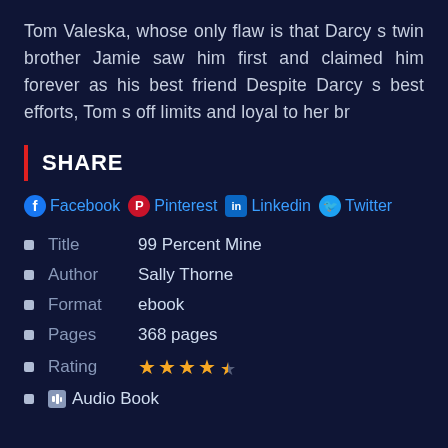Tom Valeska, whose only flaw is that Darcy s twin brother Jamie saw him first and claimed him forever as his best friend Despite Darcy s best efforts, Tom s off limits and loyal to her br
SHARE
Facebook Pinterest Linkedin Twitter
Title    99 Percent Mine
Author    Sally Thorne
Format    ebook
Pages    368 pages
Rating ★★★★½
Audio Book